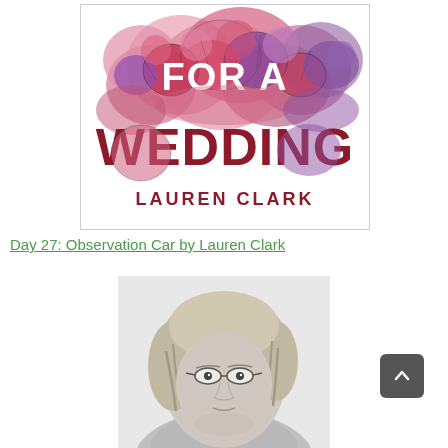[Figure (illustration): Book cover for 'For a Wedding' by Lauren Clark. White background with large floral illustration in pink, red, and purple. Title text 'FOR A WEDDING' in white and dark red large letters overlapping the flowers. Author name 'LAUREN CLARK' in dark red below.]
Day 27: Observation Car by Lauren Clark
[Figure (photo): Black and white portrait photograph of a person with medium-length light hair, glasses, looking directly at the camera. Photo is cropped showing head and upper shoulders.]